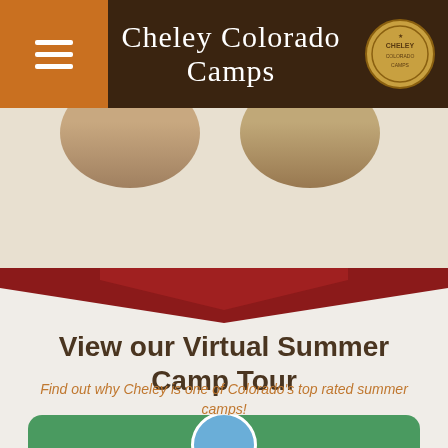Cheley Colorado Camps
[Figure (photo): Partial circular photo portraits visible at top of hero area with beige/tan background]
[Figure (illustration): Dark red chevron/arrow divider pointing downward]
View our Virtual Summer Camp Tour
Find out why Cheley is one of Colorado's top rated summer camps!
[Figure (photo): Green rounded rectangle video thumbnail with circular photo inset showing people outdoors]